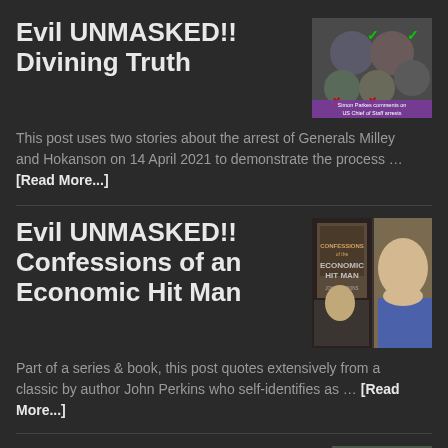Evil UNMASKED!! Divining Truth
[Figure (photo): Composite image of military figures with checkmarks and X marks, with caption 'Simon Parkes comments on US Chief of Staff arrests']
This post uses two stories about the arrest of Generals Milley and Hokanson on 14 April 2021 to demonstrate the process … [Read More...]
Evil UNMASKED!! Confessions of an Economic Hit Man
[Figure (photo): Book cover of 'Confessions of an Economic Hit Man' by John Perkins alongside photo of the author]
Part of a series & book, this post quotes extensively from a classic by author John Perkins who self-identifies as … [Read More...]
Evil UNMASKED!! The